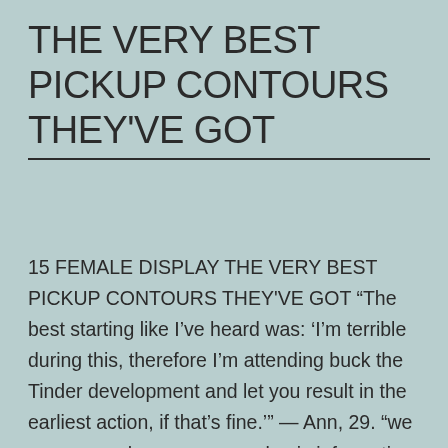THE VERY BEST PICKUP CONTOURS THEY'VE GOT
15 FEMALE DISPLAY THE VERY BEST PICKUP CONTOURS THEY'VE GOT “The best starting like I’ve heard was: ‘I’m terrible during this, therefore I’m attending buck the Tinder development and let you result in the earliest action, if that’s fine.’” — Ann, 29. “we as soon as have some guy basic information myself very first with,… Continue reading